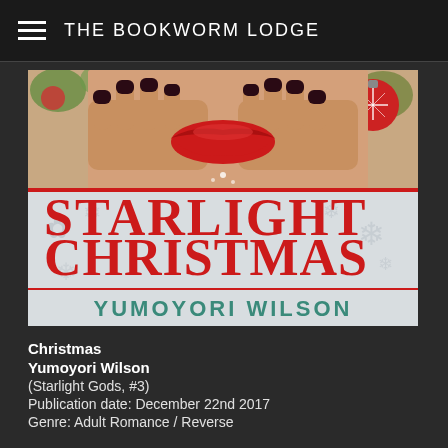THE BOOKWORM LODGE
[Figure (illustration): Book cover for 'Starlight Christmas' by Yumoyori Wilson. Upper half shows a woman's hands with dark nail polish framing her red lips, with Christmas ornaments in the background. Lower half shows the title 'STARLIGHT CHRISTMAS' in large red letters on a silver/white background with snowflakes, and 'YUMOYORI WILSON' in teal letters below.]
Christmas
Yumoyori Wilson
(Starlight Gods, #3)
Publication date: December 22nd 2017
Genre: Adult Romance / Reverse